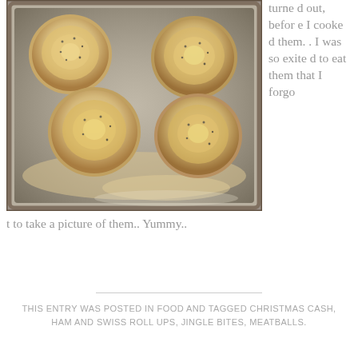[Figure (photo): Overhead photo of bacon-wrapped or layered pastry roll-ups in a baking pan, topped with black pepper seasoning, before cooking.]
turned out, before I cooked them.. I was so exited to eat them that I forgot to take a picture of them.. Yummy..
THIS ENTRY WAS POSTED IN FOOD AND TAGGED CHRISTMAS CASH, HAM AND SWISS ROLL UPS, JINGLE BITES, MEATBALLS.